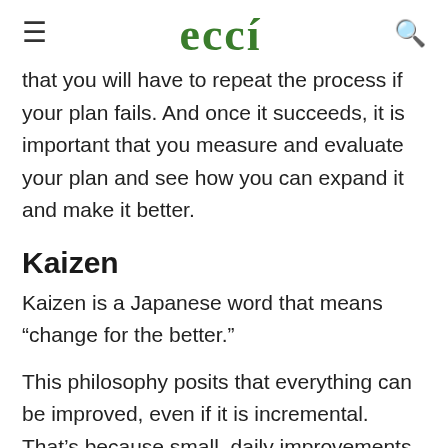ecci
that you will have to repeat the process if your plan fails. And once it succeeds, it is important that you measure and evaluate your plan and see how you can expand it and make it better.
Kaizen
Kaizen is a Japanese word that means “change for the better.”
This philosophy posits that everything can be improved, even if it is incremental. That’s because small, daily improvements are deemed desirable.